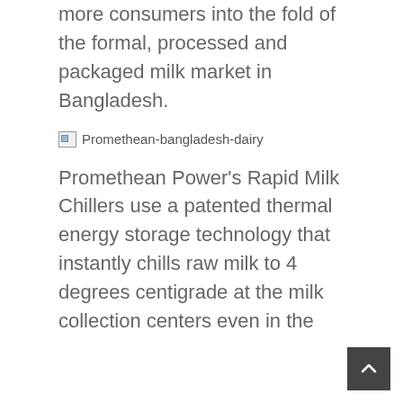more consumers into the fold of the formal, processed and packaged milk market in Bangladesh.
[Figure (photo): Broken/unloaded image placeholder labeled 'Promethean-bangladesh-dairy']
Promethean Power's Rapid Milk Chillers use a patented thermal energy storage technology that instantly chills raw milk to 4 degrees centigrade at the milk collection centers even in the